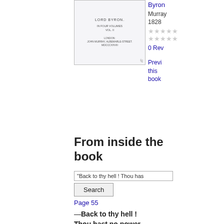[Figure (illustration): Book cover image for a work by Lord Byron, published by John Murray, London, 1828. Shows title page with 'IN FOUR VOLUMES VOL. II' and publisher details. Has a page-curl effect at bottom right.]
Byron
John Murray
1828
0 Reviews
Preview this book
From inside the book
"Back to thy hell ! Thou has
Search
Page 55
—Back to thy hell ! Thou hast no power upon me , that I feel ;